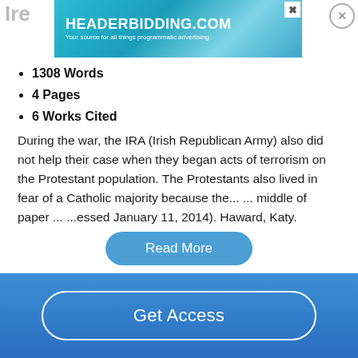[Figure (screenshot): Advertisement banner for HEADERBIDDING.COM with text 'Your source for all things programmatic advertising.']
1308 Words
4 Pages
6 Works Cited
During the war, the IRA (Irish Republican Army) also did not help their case when they began acts of terrorism on the Protestant population. The Protestants also lived in fear of a Catholic majority because the... ... middle of paper ... ...essed January 11, 2014). Haward, Katy. "Defusing the Conflict in Northern Ireland." EU Border Conflict studies....